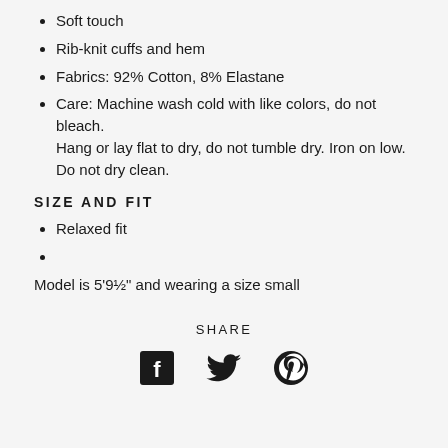Soft touch
Rib-knit cuffs and hem
Fabrics: 92% Cotton, 8% Elastane
Care: Machine wash cold with like colors, do not bleach. Hang or lay flat to dry, do not tumble dry. Iron on low. Do not dry clean.
SIZE AND FIT
Relaxed fit
Model is 5'9½" and wearing a size small
SHARE
[Figure (other): Social media share icons: Facebook, Twitter, Pinterest]